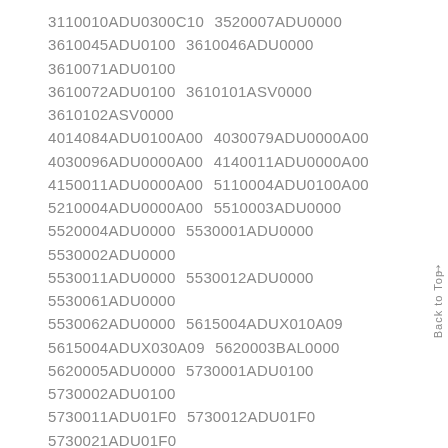3110010ADU0300C10 3520007ADU0000 3610045ADU0100 3610046ADU0000 3610071ADU0100 3610072ADU0100 3610101ASV0000 3610102ASV0000 4014084ADU0100A00 4030079ADU0000A00 4030096ADU0000A00 4140011ADU0000A00 4150011ADU0000A00 5110004ADU0100A00 5210004ADU0000A00 5510003ADU0000 5520004ADU0000 5530001ADU0000 5530002ADU0000 5530011ADU0000 5530012ADU0000 5530061ADU0000 5530062ADU0000 5615004ADUX010A09 5615004ADUX030A09 5620003BAL0000 5620005ADU0000 5730001ADU0100 5730002ADU0100 5730011ADU01F0 5730012ADU01F0 5730021ADU01F0 5730022ADU01F0 5730031ADU0100 5730032ADU0100 5730041ADU01F0 5730042ADU01F0 5730091ADU0100 5730092ADU0100 5810001CAC0000A00 5810002CAC0000A00 5810003ADU0000 5810011BAL0000A00 5810011CAC0000A00